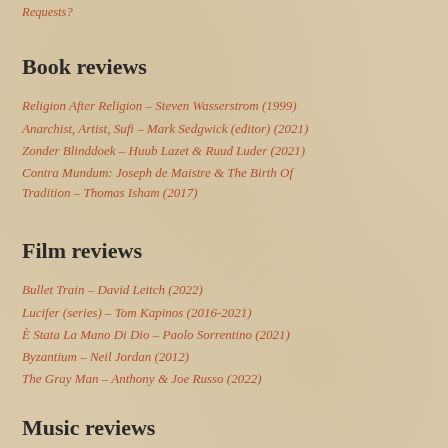Requests?
Book reviews
Religion After Religion – Steven Wasserstrom (1999)
Anarchist, Artist, Sufi – Mark Sedgwick (editor) (2021)
Zonder Blinddoek – Huub Lazet & Ruud Luder (2021)
Contra Mundum: Joseph de Maistre & The Birth Of Tradition – Thomas Isham (2017)
Film reviews
Bullet Train – David Leitch (2022)
Lucifer (series) – Tom Kapinos (2016-2021)
È Stata La Mano Di Dio – Paolo Sorrentino (2021)
Byzantium – Neil Jordan (2012)
The Gray Man – Anthony & Joe Russo (2022)
Music reviews